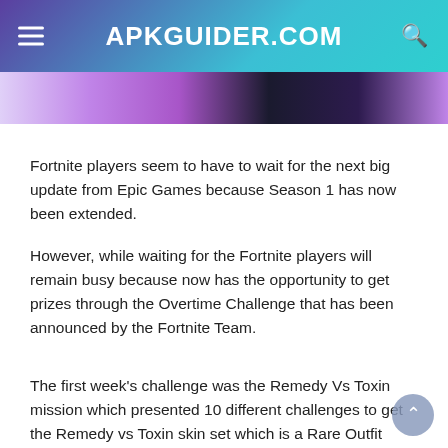APKGUIDER.COM
[Figure (photo): Partial screenshot of a Fortnite game image banner strip with purple and dark tones]
Fortnite players seem to have to wait for the next big update from Epic Games because Season 1 has now been extended.
However, while waiting for the Fortnite players will remain busy because now has the opportunity to get prizes through the Overtime Challenge that has been announced by the Fortnite Team.
The first week's challenge was the Remedy Vs Toxin mission which presented 10 different challenges to get the Remedy vs Toxin skin set which is a Rare Outfit Style that can only be obtained by the current Battle Pass owners.